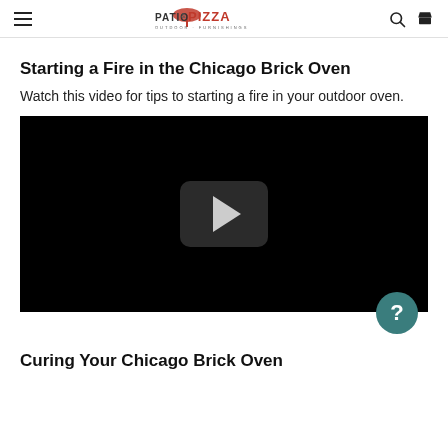Patio & Pizza Outdoor Furnishings
Starting a Fire in the Chicago Brick Oven
Watch this video for tips to starting a fire in your outdoor oven.
[Figure (screenshot): Embedded video player with black background and a play button (rounded rectangle with a triangle/arrow) in the center.]
Curing Your Chicago Brick Oven